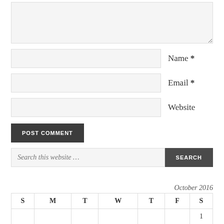[Figure (other): Comment form textarea (empty, light gray background with resize handle)]
Name *
Email *
Website
POST COMMENT
Search this website …
SEARCH
October 2016
| S | M | T | W | T | F | S |
| --- | --- | --- | --- | --- | --- | --- |
|  |  |  |  |  |  | 1 |
| 2 | 3 | 4 | 5 | 6 | 7 | 8 |